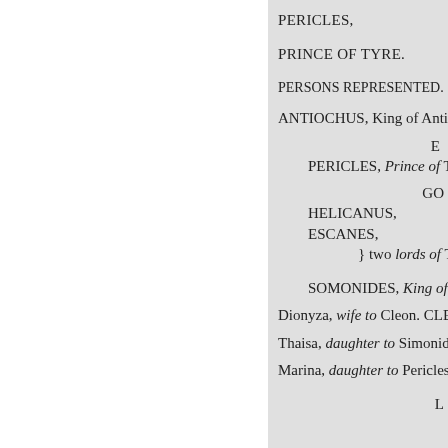PERICLES,
PRINCE OF TYRE.
PERSONS REPRESENTED.
ANTIOCHUS, King of Antioch.
PERICLES, Prince of Tyre.
GO
HELICANUS,
ESCANES,
} two lords of Tyre
SOMONIDES, King of Pen
Dionyza, wife to Cleon. CLEC
Thaisa, daughter to Simonides
Marina, daughter to Pericles a
L